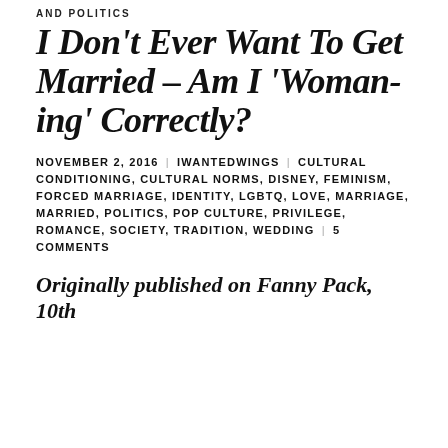AND POLITICS
I Don't Ever Want To Get Married – Am I 'Woman-ing' Correctly?
NOVEMBER 2, 2016 | IWANTEDWINGS | CULTURAL CONDITIONING, CULTURAL NORMS, DISNEY, FEMINISM, FORCED MARRIAGE, IDENTITY, LGBTQ, LOVE, MARRIAGE, MARRIED, POLITICS, POP CULTURE, PRIVILEGE, ROMANCE, SOCIETY, TRADITION, WEDDING | 5 COMMENTS
Originally published on Fanny Pack, 10th